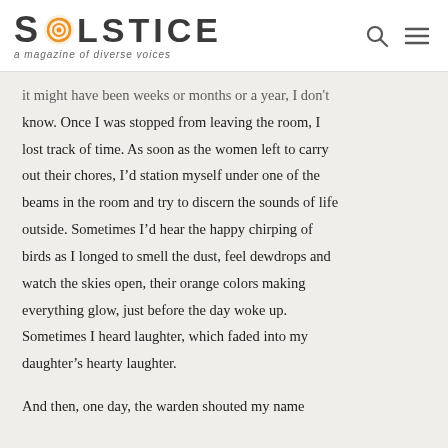SOLSTICE — a magazine of diverse voices
it might have been weeks or months or a year, I don't know. Once I was stopped from leaving the room, I lost track of time. As soon as the women left to carry out their chores, I'd station myself under one of the beams in the room and try to discern the sounds of life outside. Sometimes I'd hear the happy chirping of birds as I longed to smell the dust, feel dewdrops and watch the skies open, their orange colors making everything glow, just before the day woke up. Sometimes I heard laughter, which faded into my daughter's hearty laughter.
And then, one day, the warden shouted my name